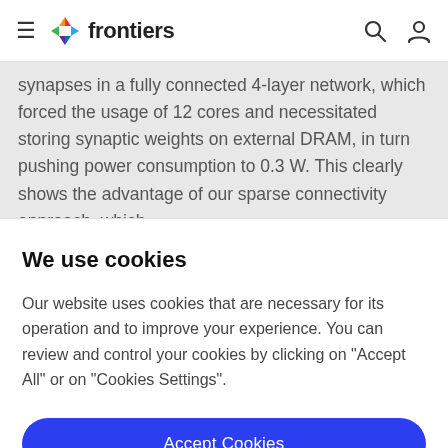frontiers
synapses in a fully connected 4-layer network, which forced the usage of 12 cores and necessitated storing synaptic weights on external DRAM, in turn pushing power consumption to 0.3 W. This clearly shows the advantage of our sparse connectivity approach, which
We use cookies
Our website uses cookies that are necessary for its operation and to improve your experience. You can review and control your cookies by clicking on "Accept All" or on "Cookies Settings".
Accept Cookies
Cookies Settings